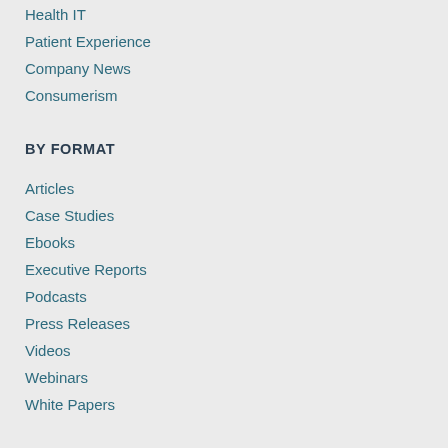Health IT
Patient Experience
Company News
Consumerism
BY FORMAT
Articles
Case Studies
Ebooks
Executive Reports
Podcasts
Press Releases
Videos
Webinars
White Papers